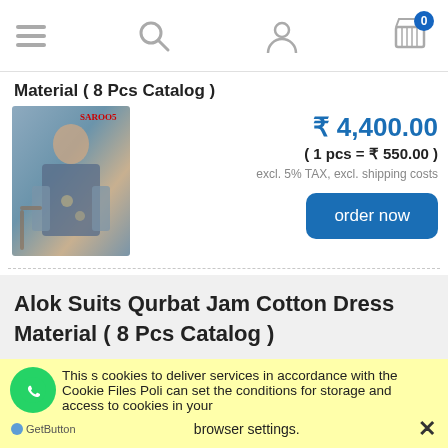Navigation bar with hamburger menu, search, user, and cart (0 items)
Material ( 8 Pcs Catalog )
[Figure (photo): Fashion photo of a woman wearing a blue printed suit with dupatta, seated near a chair. Brand label 'SAROO5' visible top right of image.]
₹ 4,400.00
( 1 pcs = ₹ 550.00 )
excl. 5% TAX, excl. shipping costs
order now
Alok Suits Qurbat Jam Cotton Dress Material ( 8 Pcs Catalog )
This website uses cookies to deliver services in accordance with the Cookie Files Policy. You can set the conditions for storage and access to cookies in your browser settings.